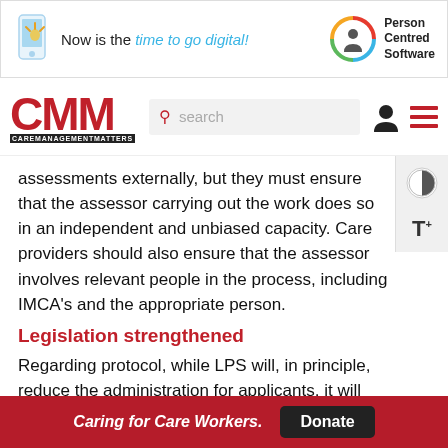[Figure (infographic): Banner advertisement: phone icon on left, text 'Now is the time to go digital!' in center, Person Centred Software logo on right]
CMM CAREMANAGEMENTMATTERS — navigation bar with search and icons
assessments externally, but they must ensure that the assessor carrying out the work does so in an independent and unbiased capacity. Care providers should also ensure that the assessor involves relevant people in the process, including IMCA's and the appropriate person.
Legislation strengthened
Regarding protocol, while LPS will, in principle, reduce the administration for applicants, it will introduce more checks and balances to ensure that the person being subject to any
Caring for Care Workers.  Donate